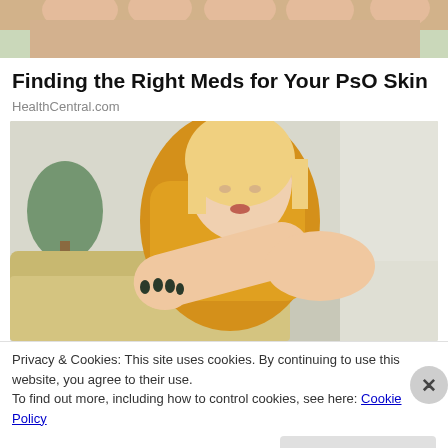[Figure (photo): Top cropped image showing a hand/arm with green/skin tones background]
Finding the Right Meds for Your PsO Skin
HealthCentral.com
[Figure (photo): A blonde woman in a yellow knit sweater looking down at her arm/elbow, appearing to examine or scratch her skin. Indoor setting with couch and plants visible.]
Privacy & Cookies: This site uses cookies. By continuing to use this website, you agree to their use.
To find out more, including how to control cookies, see here: Cookie Policy
Close and accept